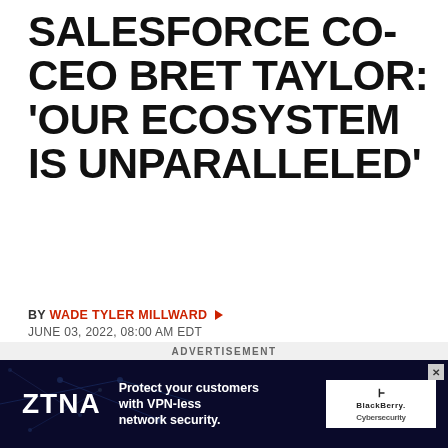SALESFORCE CO-CEO BRET TAYLOR: ‘OUR ECOSYSTEM IS UNPARALLELED’
BY WADE TYLER MILLWARD ►
JUNE 03, 2022, 08:00 AM EDT
‘Our business model … is durable,’ Salesforce co-CEO Bret Taylor said on an earnings call this week. ‘It’s diversified across industries, regions, lines of business, ensuring we’re resilient in the face of any economic cycle.’
ADVERTISEMENT
[Figure (photo): ZTNA advertisement banner for BlackBerry Cybersecurity promoting VPN-less network security]